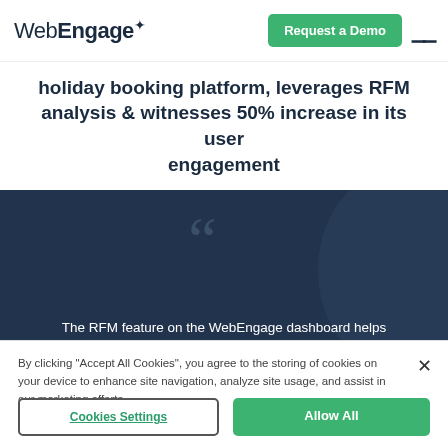WebEngage | Request a Demo
holiday booking platform, leverages RFM analysis & witnesses 50% increase in its user engagement
[Figure (photo): Dark blue background with large decorative quotation marks and a circular photo of a person (partially visible). Quote text reads: The RFM feature on the WebEngage dashboard helps us analyze our travelers' behavior in depth. The]
By clicking "Accept All Cookies", you agree to the storing of cookies on your device to enhance site navigation, analyze site usage, and assist in our marketing efforts.
Cookies Settings  |  Allow All